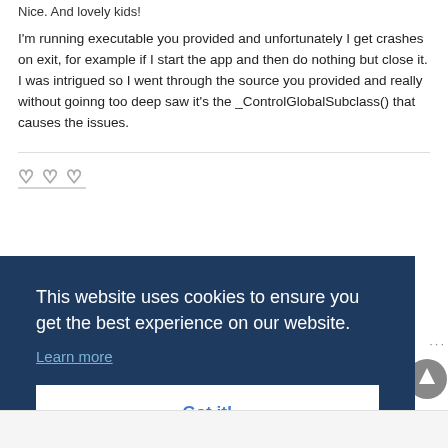Nice. And lovely kids!
I'm running executable you provided and unfortunately I get crashes on exit, for example if I start the app and then do nothing but close it. I was intrigued so I went through the source you provided and really without goinng too deep saw it's the _ControlGlobalSubclass() that causes the issues.
[Figure (other): Three heart icons (like/reaction icons) with underline, displayed in a row]
This website uses cookies to ensure you get the best experience on our website.
Learn more
Got it!